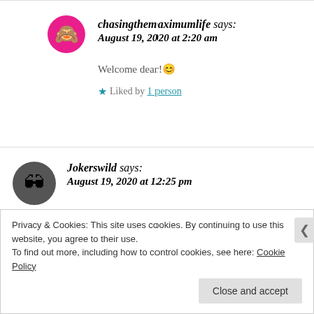chasingthemaximumlife says: August 19, 2020 at 2:20 am
Welcome dear! 😊
★ Liked by 1 person
Jokerswild says: August 19, 2020 at 12:25 pm
Privacy & Cookies: This site uses cookies. By continuing to use this website, you agree to their use. To find out more, including how to control cookies, see here: Cookie Policy
Close and accept